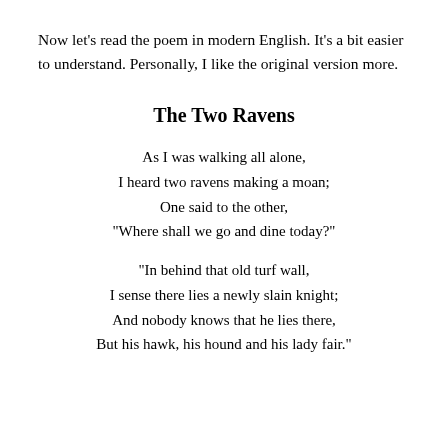Now let's read the poem in modern English. It's a bit easier to understand. Personally, I like the original version more.
The Two Ravens
As I was walking all alone,
I heard two ravens making a moan;
One said to the other,
"Where shall we go and dine today?"
"In behind that old turf wall,
I sense there lies a newly slain knight;
And nobody knows that he lies there,
But his hawk, his hound and his lady fair."